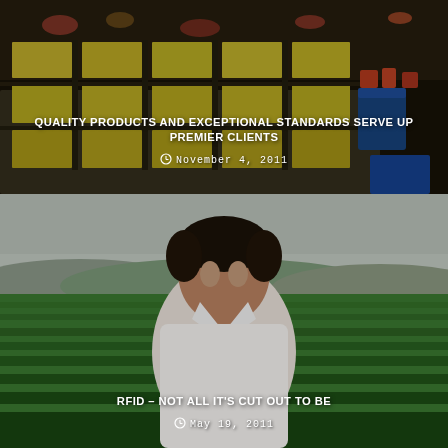[Figure (photo): Photo of a store counter with illuminated yellow shelves stocked with products/jars in a retail or deli setting. Overhead lighting, blue storage containers visible at right.]
QUALITY PRODUCTS AND EXCEPTIONAL STANDARDS SERVE UP PREMIER CLIENTS
November 4, 2011
[Figure (photo): Portrait photo of a middle-aged man in a white shirt standing outdoors in a green agricultural field with hills and overcast sky in the background.]
RFID – NOT ALL IT'S CUT OUT TO BE
May 19, 2011